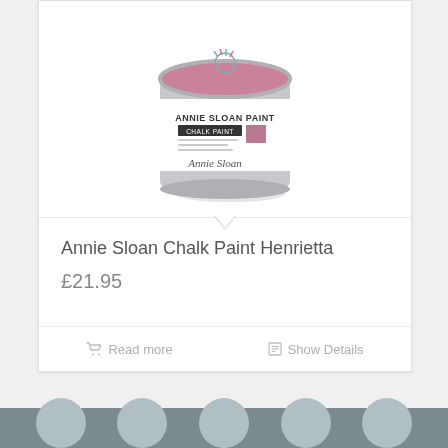[Figure (photo): Annie Sloan Chalk Paint tin in Henrietta color (dusty pink/mauve), showing the branded label with 'ANNIE SLOAN PAINT', 'CHALK PAINT' text and Annie Sloan signature, with the pink paint visible on top of the tin.]
Annie Sloan Chalk Paint Henrietta
£21.95
Read more
Show Details